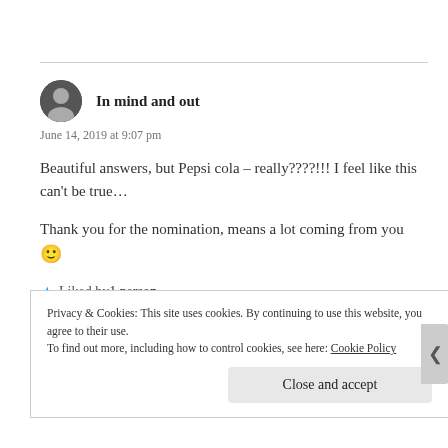In mind and out
June 14, 2019 at 9:07 pm
Beautiful answers, but Pepsi cola – really????!!! I feel like this can't be true…
Thank you for the nomination, means a lot coming from you 🙂
★ Liked by 1 person
Privacy & Cookies: This site uses cookies. By continuing to use this website, you agree to their use. To find out more, including how to control cookies, see here: Cookie Policy
Close and accept